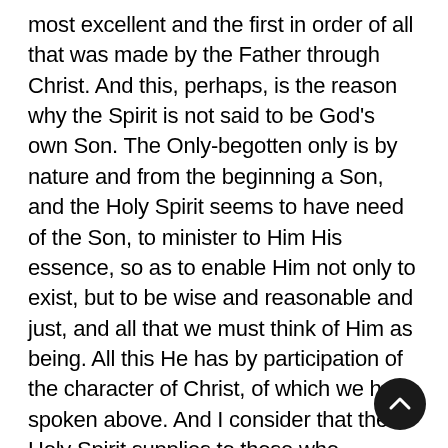most excellent and the first in order of all that was made by the Father through Christ. And this, perhaps, is the reason why the Spirit is not said to be God's own Son. The Only-begotten only is by nature and from the beginning a Son, and the Holy Spirit seems to have need of the Son, to minister to Him His essence, so as to enable Him not only to exist, but to be wise and reasonable and just, and all that we must think of Him as being. All this He has by participation of the character of Christ, of which we have spoken above. And I consider that the Holy Spirit supplies to those who, through Him and through participation in Him, are called saints, the material of the gifts, which come from God; so that the said material of the gifts is made powerful by God, is ministered by Christ, and